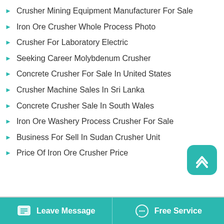Crusher Mining Equipment Manufacturer For Sale
Iron Ore Crusher Whole Process Photo
Crusher For Laboratory Electric
Seeking Career Molybdenum Crusher
Concrete Crusher For Sale In United States
Crusher Machine Sales In Sri Lanka
Concrete Crusher Sale In South Wales
Iron Ore Washery Process Crusher For Sale
Business For Sell In Sudan Crusher Unit
Price Of Iron Ore Crusher Price
Leave Message   Free Service